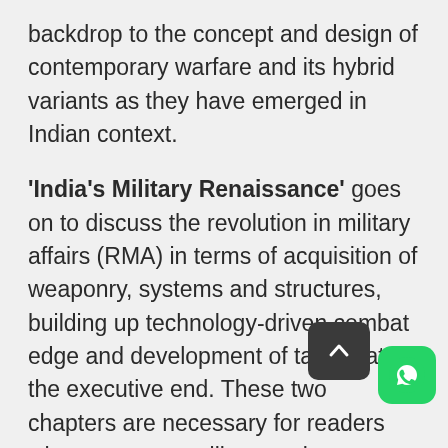backdrop to the concept and design of contemporary warfare and its hybrid variants as they have emerged in Indian context.
'India's Military Renaissance' goes on to discuss the revolution in military affairs (RMA) in terms of acquisition of weaponry, systems and structures, building up technology-driven combat edge and development of tactics at the executive end. These two chapters are necessary for readers who are new to military parlance to grasp the doctrinal aspects behind the military engagements that follow in the subsequent chapters.
The 'Naga Rebellion' is an account of the oldest insurgency and its trail of violence that has afflicted